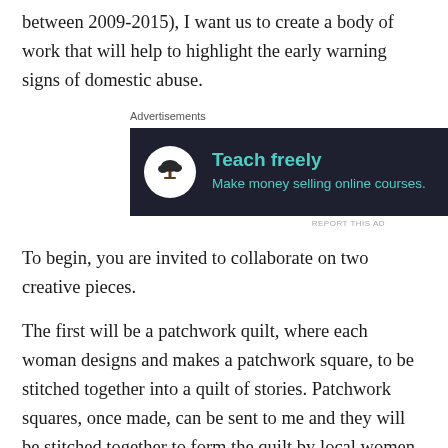between 2009-2015), I want us to create a body of work that will help to highlight the early warning signs of domestic abuse.
[Figure (other): Advertisement banner with dark background showing a bonsai tree icon and text 'Teach freely – Make money selling online courses.']
To begin, you are invited to collaborate on two creative pieces.
The first will be a patchwork quilt, where each woman designs and makes a patchwork square, to be stitched together into a quilt of stories. Patchwork squares, once made, can be sent to me and they will be stitched together to form the quilt by local women who feel called to, during some sessions I have arranged with Woman's Health Advocate Ruth Willis at The Red Shed. Stories will be shared and heard and honored as we